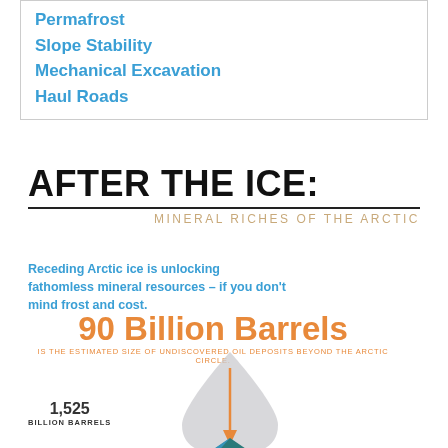Permafrost
Slope Stability
Mechanical Excavation
Haul Roads
AFTER THE ICE:
MINERAL RICHES OF THE ARCTIC
Receding Arctic ice is unlocking fathomless mineral resources – if you don't mind frost and cost.
90 Billion Barrels
IS THE ESTIMATED SIZE OF UNDISCOVERED OIL DEPOSITS BEYOND THE ARCTIC CIRCLE.
[Figure (infographic): Large grey water droplet shape with an orange downward arrow inside it, and a teal/blue mountain triangle at the bottom]
1,525
BILLION BARRELS